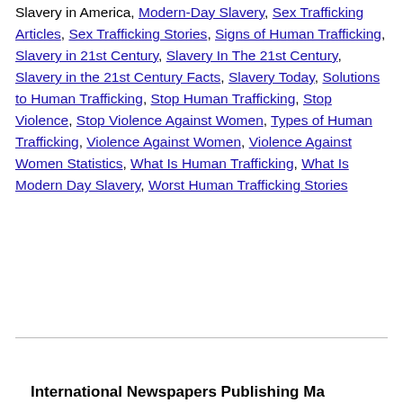Slavery in America, Modern-Day Slavery, Sex Trafficking Articles, Sex Trafficking Stories, Signs of Human Trafficking, Slavery in 21st Century, Slavery In The 21st Century, Slavery in the 21st Century Facts, Slavery Today, Solutions to Human Trafficking, Stop Human Trafficking, Stop Violence, Stop Violence Against Women, Types of Human Trafficking, Violence Against Women, Violence Against Women Statistics, What Is Human Trafficking, What Is Modern Day Slavery, Worst Human Trafficking Stories
International Newspapers Publishing Ma...